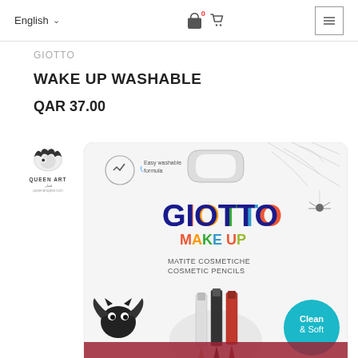English   0
GIOTTO
WAKE UP WASHABLE
QAR 37.00
[Figure (photo): Product photo of Giotto Make Up cosmetic pencils set in packaging, showing pencils with bat and spider web Halloween decorations, and a 'Clean & Soft' label. Queen Art store logo visible.]